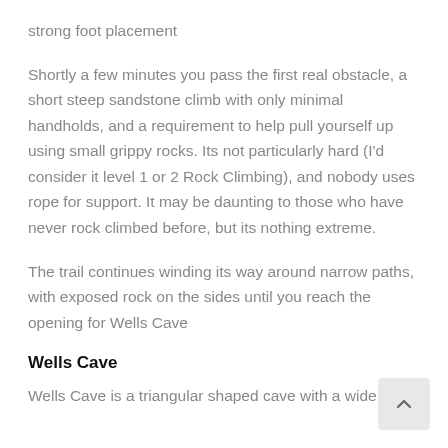strong foot placement
Shortly a few minutes you pass the first real obstacle, a short steep sandstone climb with only minimal handholds, and a requirement to help pull yourself up using small grippy rocks. Its not particularly hard (I'd consider it level 1 or 2 Rock Climbing), and nobody uses rope for support. It may be daunting to those who have never rock climbed before, but its nothing extreme.
The trail continues winding its way around narrow paths, with exposed rock on the sides until you reach the opening for Wells Cave
Wells Cave
Wells Cave is a triangular shaped cave with a wide open